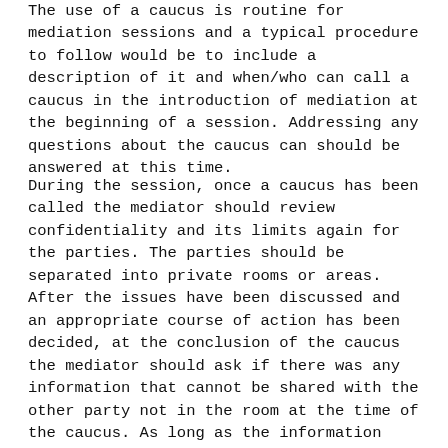The use of a caucus is routine for mediation sessions and a typical procedure to follow would be to include a description of it and when/who can call a caucus in the introduction of mediation at the beginning of a session. Addressing any questions about the caucus can should be answered at this time.
During the session, once a caucus has been called the mediator should review confidentiality and its limits again for the parties. The parties should be separated into private rooms or areas. After the issues have been discussed and an appropriate course of action has been decided, at the conclusion of the caucus the mediator should ask if there was any information that cannot be shared with the other party not in the room at the time of the caucus. As long as the information falls under the Standards for Good Mediation Conduct it will be kept confidential. If the information is relevant